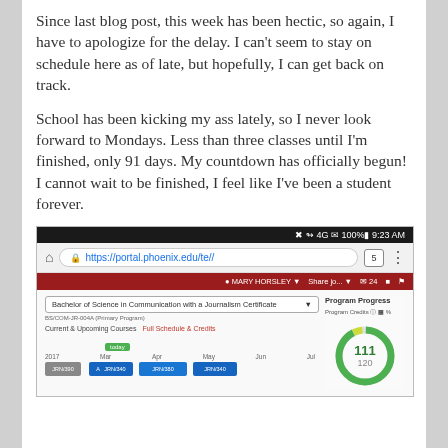Since last blog post, this week has been hectic, so again, I have to apologize for the delay. I can't seem to stay on schedule here as of late, but hopefully, I can get back on track.
School has been kicking my ass lately, so I never look forward to Mondays. Less than three classes until I'm finished, only 91 days. My countdown has officially begun! I cannot wait to be finished, I feel like I've been a student forever.
[Figure (screenshot): Mobile screenshot of University of Phoenix student portal showing Bachelor of Science in Communication with a Journalism Certificate program page, with current and upcoming courses timeline and a program progress donut chart showing 111 out of 120 credits.]